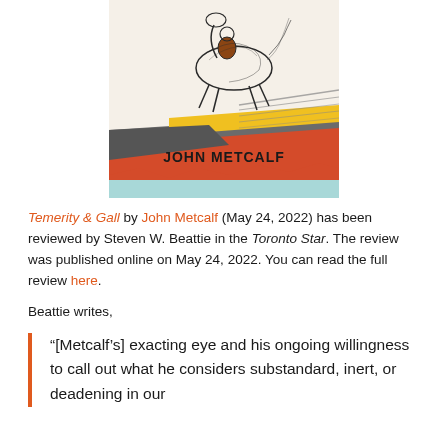[Figure (illustration): Book cover of 'Temerity & Gall' by John Metcalf. Features a sketchy illustration of a horse and rider in black lines on a cream background, with bold graphic blocks of grey, yellow, red, and light blue at the bottom. 'JOHN METCALF' is printed in bold dark text on the red section.]
Temerity & Gall by John Metcalf (May 24, 2022) has been reviewed by Steven W. Beattie in the Toronto Star. The review was published online on May 24, 2022. You can read the full review here.
Beattie writes,
“[Metcalf’s] exacting eye and his ongoing willingness to call out what he considers substandard, inert, or deadening in our